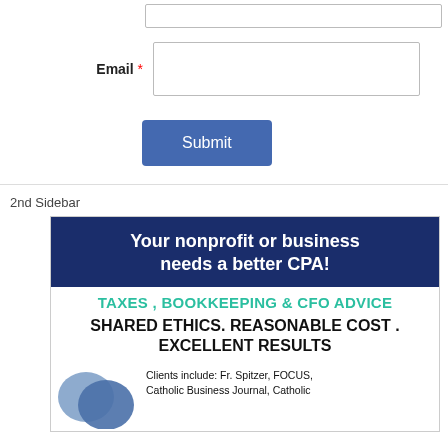[Figure (screenshot): Form input field (empty text box) at the top of the page]
Email *
[Figure (screenshot): Email input field (empty text box)]
Submit
2nd Sidebar
[Figure (illustration): CPA advertisement banner: dark blue header reading 'Your nonprofit or business needs a better CPA!', teal text 'TAXES, BOOKKEEPING & CFO ADVICE', bold black text 'SHARED ETHICS. REASONABLE COST. EXCELLENT RESULTS', with a blue heart graphic and client list mentioning Fr. Spitzer, FOCUS, Catholic Business Journal, Catholic]